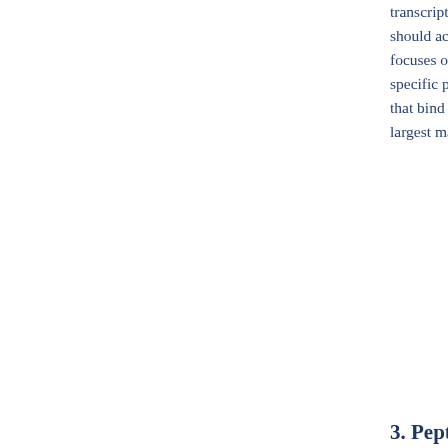transcription and should act in the focuses on these specific proteases that bind to acti largest market fo
3. Peptide-ori
Many toxins (su cytotoxic specifica greatly re growth fa on norma specifica factor and Pseud